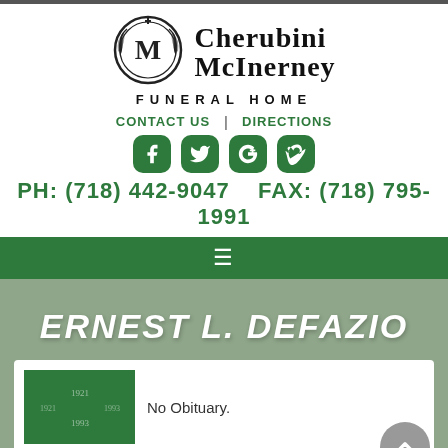[Figure (logo): Cherubini McInerney Funeral Home logo with circular emblem containing letter M, flanked by laurel branches]
CHERUBINI McINERNEY FUNERAL HOME
CONTACT US | DIRECTIONS
[Figure (infographic): Social media icons: Facebook, Twitter, Google+, Vimeo — white icons on green rounded square backgrounds]
PH: (718) 442-9047    FAX: (718) 795-1991
☰ (hamburger menu)
ERNEST L. DEFAZIO
No Obituary.